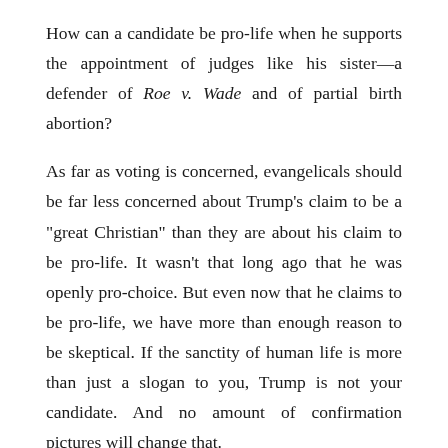How can a candidate be pro-life when he supports the appointment of judges like his sister—a defender of Roe v. Wade and of partial birth abortion?

As far as voting is concerned, evangelicals should be far less concerned about Trump's claim to be a "great Christian" than they are about his claim to be pro-life. It wasn't that long ago that he was openly pro-choice. But even now that he claims to be pro-life, we have more than enough reason to be skeptical. If the sanctity of human life is more than just a slogan to you, Trump is not your candidate. And no amount of confirmation pictures will change that.
————
UPDATE (1/16/16): In 1999, Donald Trump said this about his views: